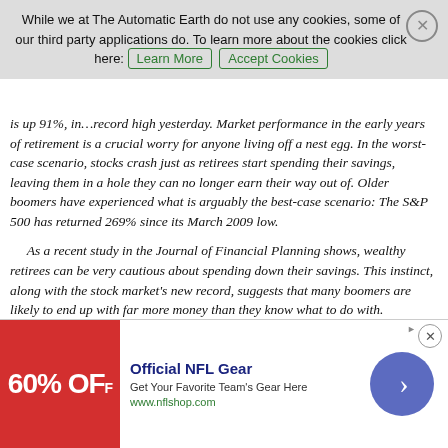While we at The Automatic Earth do not use any cookies, some of our third party applications do. To learn more about the cookies click here: [Learn More] [Accept Cookies]
yesterday. Market performance in the early years of retirement is a crucial worry for anyone living off a nest egg. In the worst-case scenario, stocks crash just as retirees start spending their savings, leaving them in a hole they can no longer earn their way out of. Older boomers have experienced what is arguably the best-case scenario: The S&P 500 has returned 269% since its March 2009 low.
As a recent study in the Journal of Financial Planning shows, wealthy retirees can be very cautious about spending down their savings. This instinct, along with the stock market’s new record, suggests that many boomers are likely to end up with far more money than they know what to do with. Researchers followed the spending and investing behavior of 65- to 70-year-olds from 2000 to 2008. The poorest 40% of the survey respondents generally spent more than they earned, according to the study, which was funded by Texas Tech
[Figure (infographic): Advertisement banner for Official NFL Gear showing 60% off, NFL shield logo, blue arrow button, and text 'Get Your Favorite Team’s Gear Here' with URL www.nflshop.com]